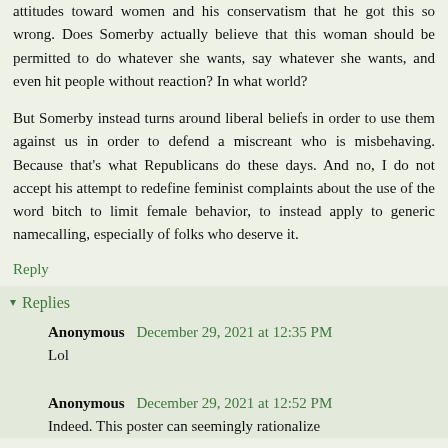attitudes toward women and his conservatism that he got this so wrong. Does Somerby actually believe that this woman should be permitted to do whatever she wants, say whatever she wants, and even hit people without reaction? In what world?
But Somerby instead turns around liberal beliefs in order to use them against us in order to defend a miscreant who is misbehaving. Because that's what Republicans do these days. And no, I do not accept his attempt to redefine feminist complaints about the use of the word bitch to limit female behavior, to instead apply to generic namecalling, especially of folks who deserve it.
Reply
Replies
Anonymous December 29, 2021 at 12:35 PM
Lol
Anonymous December 29, 2021 at 12:52 PM
Indeed. This poster can seemingly rationalize